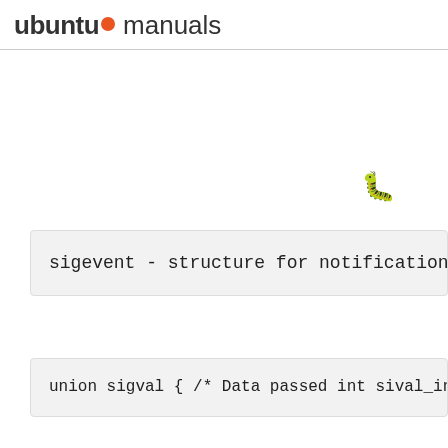ubuntu manuals
[Figure (illustration): Small yellow bug/beetle emoji icon positioned in the upper right area of the page]
sigevent - structure for notification f
union sigval {	/* Data passed
    int	sival_int;	/* Integ
    void	*sival_ptr;	/* Point
};